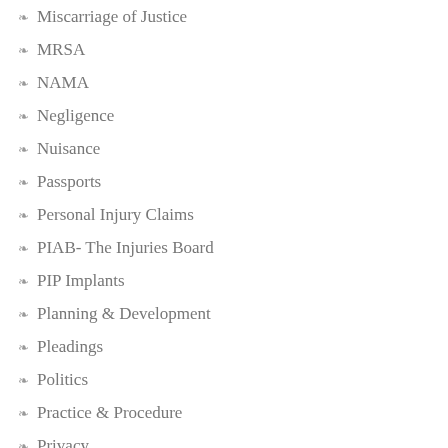Miscarriage of Justice
MRSA
NAMA
Negligence
Nuisance
Passports
Personal Injury Claims
PIAB- The Injuries Board
PIP Implants
Planning & Development
Pleadings
Politics
Practice & Procedure
Privacy
Professions
Property law
Public Health